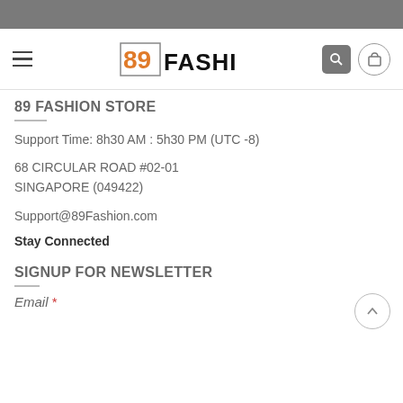[Figure (logo): 89 FASHION logo with orange 89 numeral and black FASHION text]
89 FASHION STORE
Support Time: 8h30 AM : 5h30 PM (UTC -8)
68 CIRCULAR ROAD #02-01
SINGAPORE (049422)
Support@89Fashion.com
Stay Connected
SIGNUP FOR NEWSLETTER
Email *